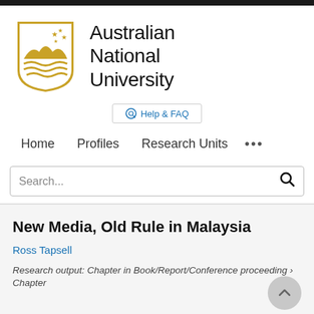[Figure (logo): Australian National University crest logo — gold shield with stars and wave patterns, alongside text 'Australian National University']
Help & FAQ
Home   Profiles   Research Units   ...
Search...
New Media, Old Rule in Malaysia
Ross Tapsell
Research output: Chapter in Book/Report/Conference proceeding › Chapter